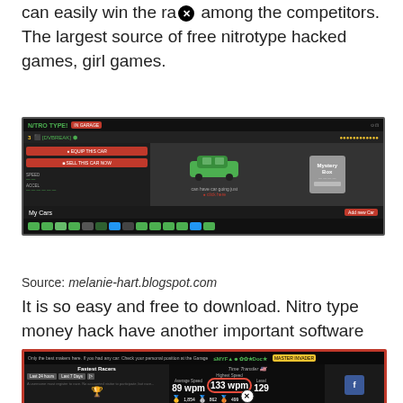can easily win the ra✕ among the competitors. The largest source of free nitrotype hacked games, girl games.
[Figure (screenshot): Screenshot of Nitro Type game showing a garage with a green car and a Mystery Box, with My Cars section below showing multiple car icons.]
Source: melanie-hart.blogspot.com
It is so easy and free to download. Nitro type money hack have another important software included!
[Figure (screenshot): Screenshot of Nitro Type game showing player stats with Average Speed 89 wpm and Highest Speed 133 wpm (highlighted in red circle), Level 129, and medal achievements.]